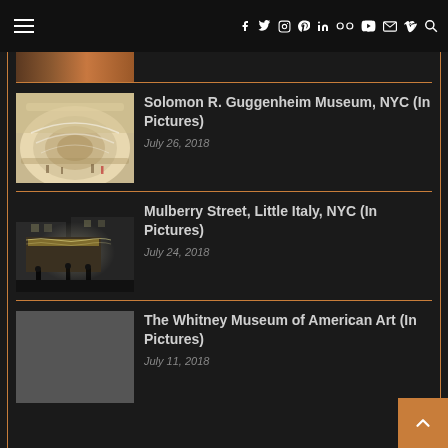Navigation bar with hamburger menu and social icons: Facebook, Twitter, Instagram, Pinterest, LinkedIn, Flickr, YouTube, Email, Vimeo, Search
[Figure (photo): Partially visible thumbnail of an article, cropped at top]
[Figure (photo): Interior of the Solomon R. Guggenheim Museum with spiral ramps, warm beige tones]
Solomon R. Guggenheim Museum, NYC (In Pictures)
July 26, 2018
[Figure (photo): Black and white night photo of Mulberry Street, Little Italy, NYC with illuminated storefront]
Mulberry Street, Little Italy, NYC (In Pictures)
July 24, 2018
[Figure (photo): Gray placeholder image representing The Whitney Museum of American Art]
The Whitney Museum of American Art (In Pictures)
July 11, 2018